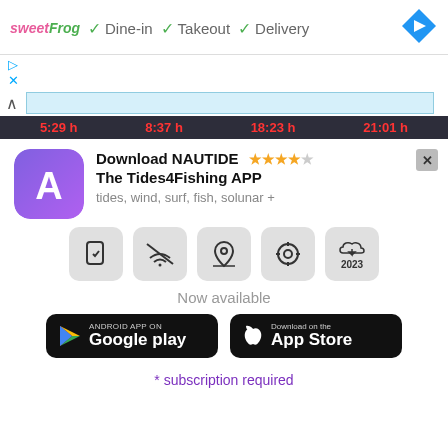[Figure (screenshot): Top ad banner: sweetFrog logo with Dine-in, Takeout, Delivery checkmarks and navigation arrow icon]
[Figure (screenshot): Tide times bar showing 5:29 h, 8:37 h, 18:23 h, 21:01 h on dark background]
[Figure (infographic): NAUTIDE app advertisement with icon, star rating, feature icons, Google Play and App Store download buttons]
* subscription required